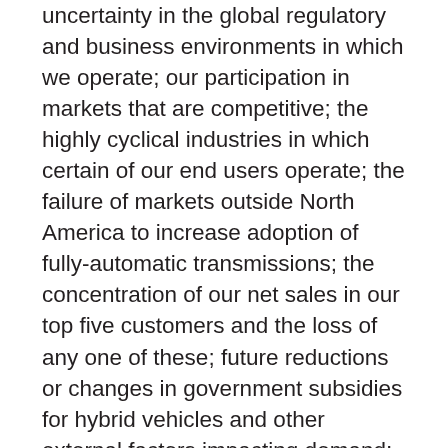uncertainty in the global regulatory and business environments in which we operate; our participation in markets that are competitive; the highly cyclical industries in which certain of our end users operate; the failure of markets outside North America to increase adoption of fully-automatic transmissions; the concentration of our net sales in our top five customers and the loss of any one of these; future reductions or changes in government subsidies for hybrid vehicles and other external factors impacting demand; U.S. defense spending; general economic and industry conditions; the discovery of defects in our products, resulting in delays in new model launches, recall campaigns and/or increased warranty costs and reduction in future sales or damage to our brand and reputation; our ability to prepare for, respond to and successfully achieve our objectives relating to technological and market developments and changing customer needs; risks